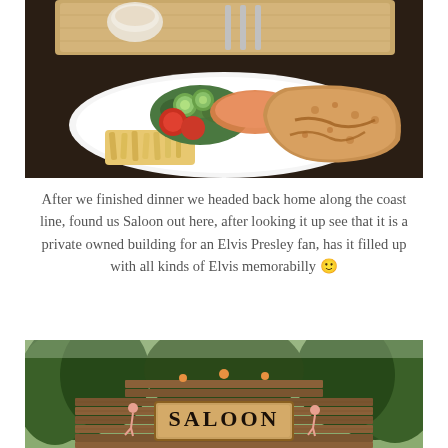[Figure (photo): A plate of food on a white dish: schnitzel or breaded meat, fries/pasta, salad with cucumbers, tomatoes, and greens. A dipping sauce in a small bowl and cutlery visible in the background on a wooden board.]
After we finished dinner we headed back home along the coast line, found us Saloon out here, after looking it up see that it is a private owned building for an Elvis Presley fan, has it filled up with all kinds of Elvis memorabilly 🙂
[Figure (photo): Outdoor wooden sign reading 'SALOON' in large letters, mounted on a rustic wooden fence or wall structure surrounded by green trees.]